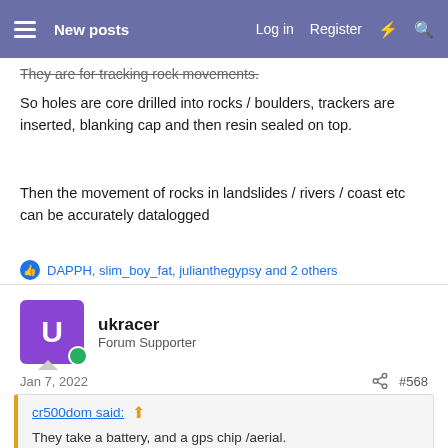New posts  Log in  Register
They are for tracking rock movements.
So holes are core drilled into rocks / boulders, trackers are inserted, blanking cap and then resin sealed on top.
Then the movement of rocks in landslides / rivers / coast etc can be accurately datalogged
DAPPH, slim_boy_fat, julianthegypsy and 2 others
ukracer
Forum Supporter
Jan 7, 2022   #568
cr500dom said:
They take a battery, and a gps chip /aerial.
The round bits are the main body, the fan is all the lids nested.
They are for tracking rock movements.